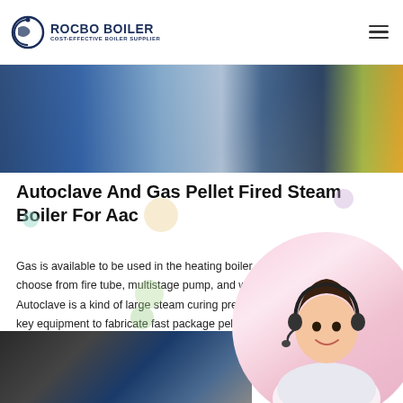ROCBO BOILER - COST-EFFECTIVE BOILER SUPPLIER
[Figure (photo): Industrial boiler equipment photo showing blue and metal machinery with yellow pipes]
Autoclave And Gas Pellet Fired Steam Boiler For Aac
Gas is available to be used in the heating boiler. You choose from fire tube, multistage pump, and water tube. Autoclave is a kind of large steam curing pressure vessel, key equipment to fabricate fast package pellet steam boiler....
[Figure (illustration): 10% DISCOUNT promotional badge in red text on cream/beige scroll banner]
[Figure (photo): Customer service representative woman wearing headset smiling, with pink circular background]
[Figure (photo): Industrial equipment/boiler machinery photo at bottom of page]